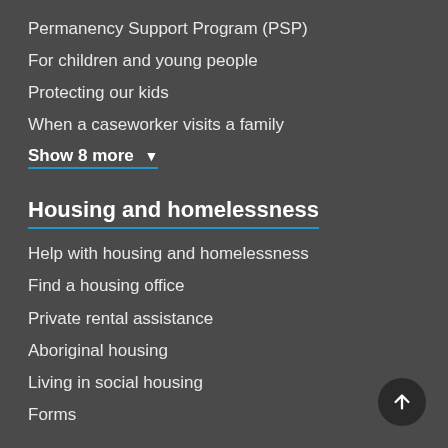Permanency Support Program (PSP)
For children and young people
Protecting our kids
When a caseworker visits a family
Show 8 more ▾
Housing and homelessness
Help with housing and homelessness
Find a housing office
Private rental assistance
Aboriginal housing
Living in social housing
Forms